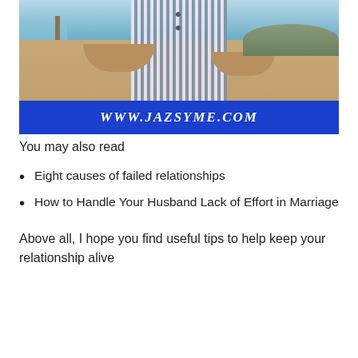[Figure (photo): A couple embracing outdoors near water, the man wearing a striped shirt, with a blue banner below showing the website URL www.jazsyme.com]
You may also read
Eight causes of failed relationships
How to Handle Your Husband Lack of Effort in Marriage
Above all, I hope you find useful tips to help keep your relationship alive